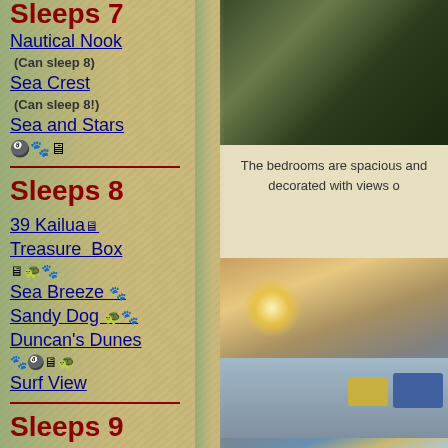Sleeps 7
Nautical Nook
(Can sleep 8)
Sea Crest
(Can sleep 8!)
Sea and Stars
[Figure (photo): View through window showing trees/outdoor scene]
The bedrooms are spacious and beautifully decorated with views o...
Sleeps 8
39 Kailua
Treasure Box
Sea Breeze
Sandy Dog
Duncan's Dunes
Surf View
[Figure (photo): Bedroom interior with lamp, blue and yellow pillows on bed]
Sleeps 9